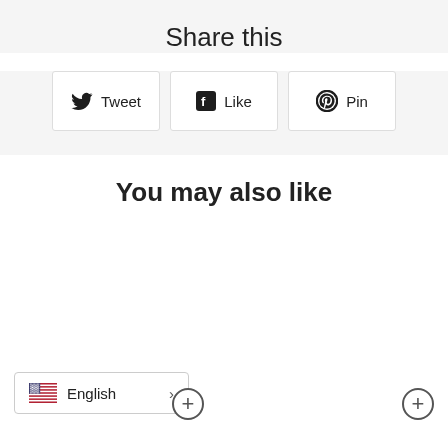Share this
[Figure (infographic): Three social share buttons: Tweet (Twitter bird icon), Like (Facebook icon), Pin (Pinterest icon)]
You may also like
English >